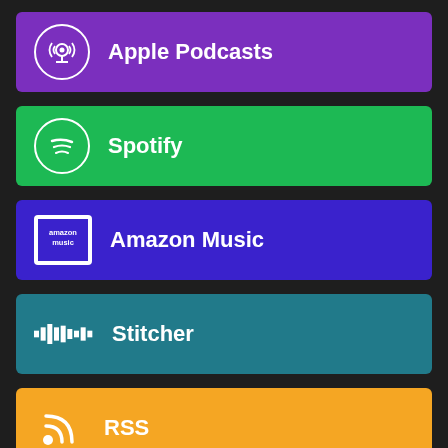[Figure (infographic): Apple Podcasts purple button with podcast icon]
[Figure (infographic): Spotify green button with Spotify logo icon]
[Figure (infographic): Amazon Music indigo/purple button with Amazon Music logo]
[Figure (infographic): Stitcher teal button with Stitcher logo]
[Figure (infographic): RSS orange button with RSS feed icon]
BLOGROLL
/Film
All DotMe Dobbleserms